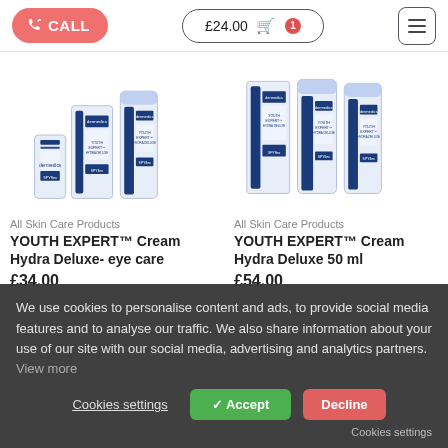CALL | £24.00 🛒1 | Menu
All Skin Care Products
[Figure (photo): YOUTH EXPERT Cream Hydra Deluxe eye care product photo - dermedics brand skincare bottles and boxes]
YOUTH EXPERT™ Cream Hydra Deluxe- eye care
£34.00
ADD TO BASKET
All Skin Care Products
[Figure (photo): YOUTH EXPERT Cream Hydra Deluxe 50ml product photo - dermedics brand skincare bottles and boxes]
YOUTH EXPERT™ Cream Hydra Deluxe 50 ml
£54.00
ADD TO BASKET
We use cookies to personalise content and ads, to provide social media features and to analyse our traffic. We also share information about your use of our site with our social media, advertising and analytics partners. View more
Cookies settings | ✓ Accept | Decline
Cookies settings